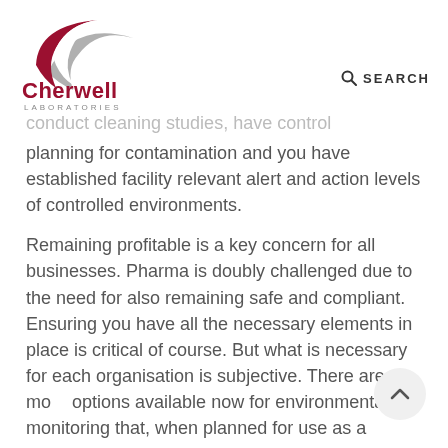[Figure (logo): Cherwell Laboratories logo with a stylized red and grey C-shaped swoosh above the text 'Cherwell LABORATORIES']
🔍 SEARCH
conduct cleaning studies, have control planning for contamination and you have established facility relevant alert and action levels of controlled environments.
Remaining profitable is a key concern for all businesses. Pharma is doubly challenged due to the need for also remaining safe and compliant. Ensuring you have all the necessary elements in place is critical of course. But what is necessary for each organisation is subjective. There are more options available now for environmental monitoring that, when planned for use as a